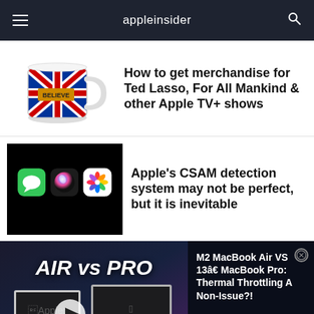appleinsider
[Figure (photo): A mug with Union Jack design and BELIEVE text]
How to get merchandise for Ted Lasso, For All Mankind & other Apple TV+ shows
[Figure (screenshot): iOS app icons: Messages (green), Siri (colorful), Photos (pinwheel) on black background]
Apple's CSAM detection system may not be perfect, but it is inevitable
[Figure (screenshot): Video thumbnail showing AIR vs PRO with two MacBooks and M2 chip badge]
M2 MacBook Air VS 13â€ MacBook Pro: Thermal Throttling A Non-Issue?!